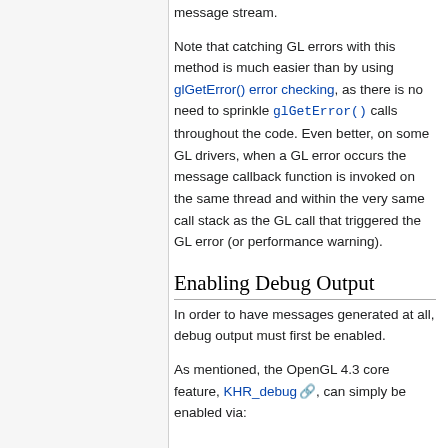message stream.
Note that catching GL errors with this method is much easier than by using glGetError() error checking, as there is no need to sprinkle glGetError() calls throughout the code. Even better, on some GL drivers, when a GL error occurs the message callback function is invoked on the same thread and within the very same call stack as the GL call that triggered the GL error (or performance warning).
Enabling Debug Output
In order to have messages generated at all, debug output must first be enabled.
As mentioned, the OpenGL 4.3 core feature, KHR_debug, can simply be enabled via: